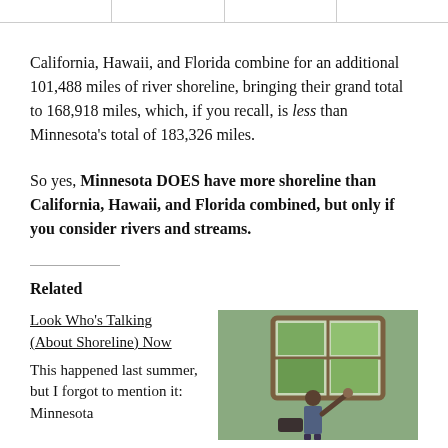[navigation bar]
California, Hawaii, and Florida combine for an additional 101,488 miles of river shoreline, bringing their grand total to 168,918 miles, which, if you recall, is less than Minnesota's total of 183,326 miles.
So yes, Minnesota DOES have more shoreline than California, Hawaii, and Florida combined, but only if you consider rivers and streams.
Related
Look Who's Talking (About Shoreline) Now
This happened last summer, but I forgot to mention it: Minnesota
[Figure (photo): Photo of a person standing by a window indoors]
Our Closing Nightmare
July 9, 2008
In "Life"